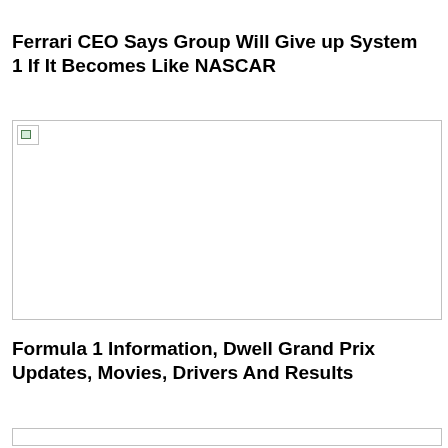Ferrari CEO Says Group Will Give up System 1 If It Becomes Like NASCAR
[Figure (photo): Broken image placeholder with small icon in top-left corner]
Formula 1 Information, Dwell Grand Prix Updates, Movies, Drivers And Results
[Figure (photo): Bottom image placeholder, partially visible]